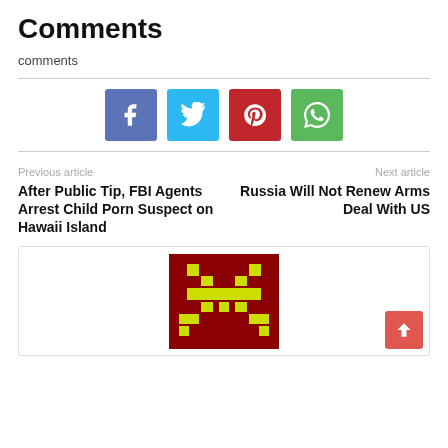Comments
comments
[Figure (other): Social share buttons: Facebook (blue), Twitter (cyan), Pinterest (red), WhatsApp (green)]
Previous article
After Public Tip, FBI Agents Arrest Child Porn Suspect on Hawaii Island
Next article
Russia Will Not Renew Arms Deal With US
[Figure (illustration): Pixel art alien/robot figure on dark red background with yellow-green pixel pattern, in a bordered box. Scroll-to-top button (salmon/red) in bottom-right corner.]